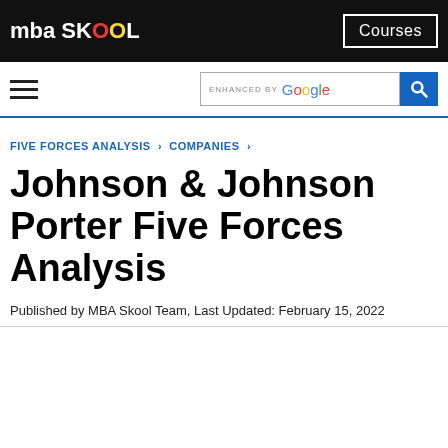mba SKOOL | Courses
FIVE FORCES ANALYSIS › COMPANIES ›
Johnson & Johnson Porter Five Forces Analysis
Published by MBA Skool Team, Last Updated: February 15, 2022